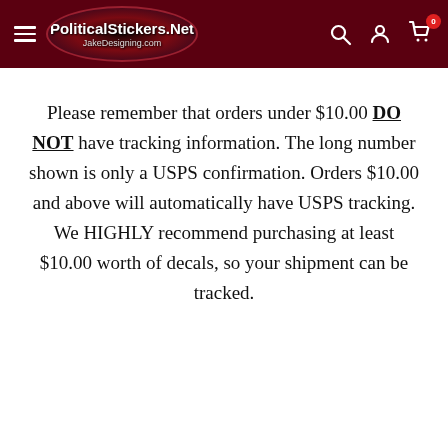PoliticalStickers.Net JakeDesigning.com
Please remember that orders under $10.00 DO NOT have tracking information. The long number shown is only a USPS confirmation. Orders $10.00 and above will automatically have USPS tracking. We HIGHLY recommend purchasing at least $10.00 worth of decals, so your shipment can be tracked.